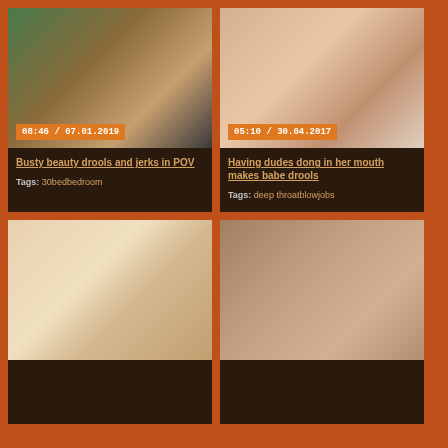[Figure (photo): Thumbnail image for video 1 - bedroom scene]
08:46 / 07.01.2019
Busty beauty drools and jerks in POV
Tags: 30bedbedroom
[Figure (photo): Thumbnail image for video 2 - close up scene]
05:10 / 30.04.2017
Having dudes dong in her mouth makes babe drools
Tags: deep throatblowjobs
[Figure (photo): Thumbnail image for video 3 - young woman]
[Figure (photo): Thumbnail image for video 4 - two women]